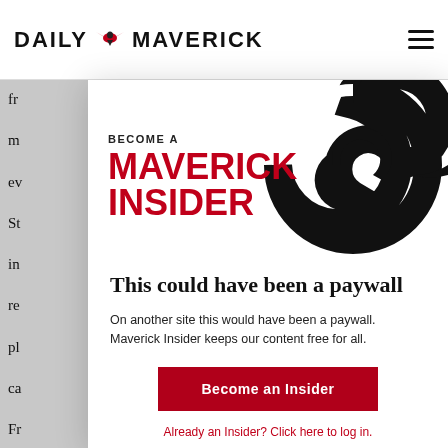DAILY MAVERICK
Fr m... in... ev... St... in... re... pl... ca... Fr... a b... ab... be... ec...
[Figure (logo): Become a Maverick Insider promotional banner with red bold text reading BECOME A MAVERICK INSIDER and a large black spiral/swirl graphic on the right side]
This could have been a paywall
On another site this would have been a paywall. Maverick Insider keeps our content free for all.
Become an Insider
Already an Insider? Click here to log in.